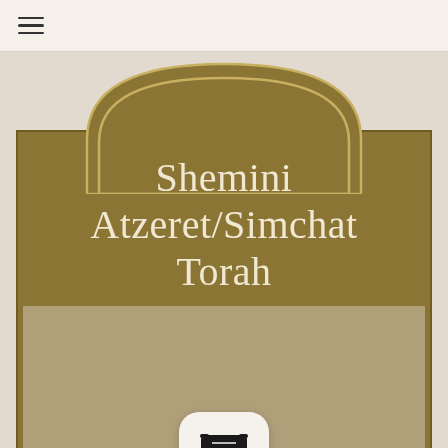☰
Shemini Atzeret/Simchat Torah
[Figure (illustration): Torah scroll icon inside a rounded white button, displayed on a tan/khaki background content area within a golden-brown sign panel]
October 16-18, 2022  •  10:24 PM Sundown